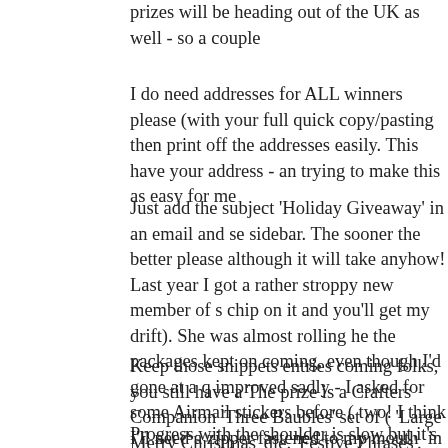prizes will be heading out of the UK as well - so a couple
I do need addresses for ALL winners please (with your full quick copy/pasting then print off the addresses easily. This have your address - an trying to make this as easy for me
Just add the subject 'Holiday Giveaway' in an email and se sidebar. The sooner the better please although it will take anyhow! Last year I got a rather stroppy new member of s chip on it and you'll get my drift). She was almost rolling he the packages kept on coming, even though I'd gone at a q improved sadly - I asked for some Airmail stickers before ( two! I think I'll need a zipper fastened to my mouth  in case
Keep those snippets entries coming folks, you still have a The prize is a Crafters Companion 'Three Baubles' set of ( 'Large Merry Christmas' die. 'Festive Phrases'.
Progress with the shoulder is slow but it's steadily improvi anytime soon though! We'll be taking Dudley to the groom handle him on my own just yet so it will be joint effort. We